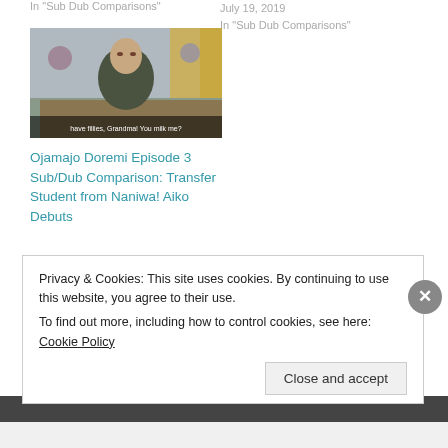In "Sub Dub Comparisons"
July 19, 2019
In "Sub Dub Comparisons"
[Figure (photo): Thumbnail image of a man sitting at a dining table, with subtitle text overlay reading 'have fillies, Grandma! You milk me?']
Ojamajo Doremi Episode 3 Sub/Dub Comparison: Transfer Student from Naniwa! Aiko Debuts
March 14, 2019
In "Sub Dub Comparisons"
Privacy & Cookies: This site uses cookies. By continuing to use this website, you agree to their use.
To find out more, including how to control cookies, see here: Cookie Policy
Close and accept